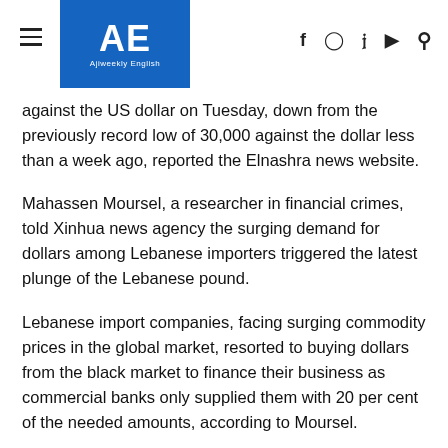AE — Ajiweekly English
against the US dollar on Tuesday, down from the previously record low of 30,000 against the dollar less than a week ago, reported the Elnashra news website.
Mahassen Moursel, a researcher in financial crimes, told Xinhua news agency the surging demand for dollars among Lebanese importers triggered the latest plunge of the Lebanese pound.
Lebanese import companies, facing surging commodity prices in the global market, resorted to buying dollars from the black market to finance their business as commercial banks only supplied them with 20 per cent of the needed amounts, according to Moursel.
“Political instability in the country also weighed heavily on the price of the local currency, not to forget the judicial accusations against the central bank governor which led to a